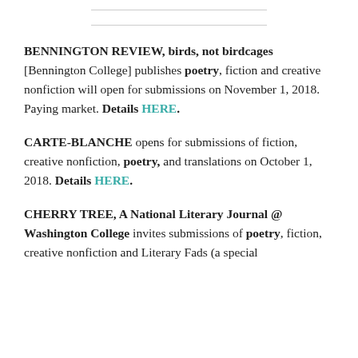BENNINGTON REVIEW, birds, not birdcages [Bennington College] publishes poetry, fiction and creative nonfiction will open for submissions on November 1, 2018. Paying market. Details HERE.
CARTE-BLANCHE opens for submissions of fiction, creative nonfiction, poetry, and translations on October 1, 2018. Details HERE.
CHERRY TREE, A National Literary Journal @ Washington College invites submissions of poetry, fiction, creative nonfiction and Literary Fads (a special...